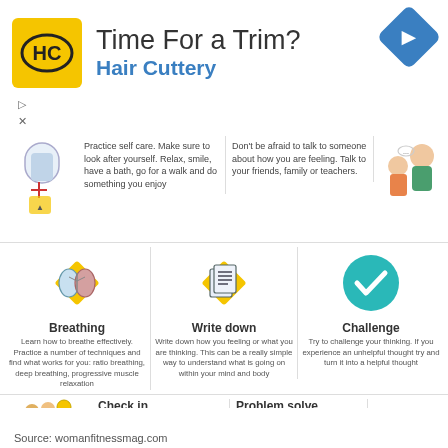[Figure (logo): Hair Cuttery advertisement banner with HC logo and navigation arrow icon]
[Figure (infographic): Mental health tips infographic showing icons and text for: self care, talk to someone, breathing, write down, challenge, check in, problem solve]
Practice self care. Make sure to look after yourself. Relax, smile, have a bath, go for a walk and do something you enjoy
Don't be afraid to talk to someone about how you are feeling. Talk to your friends, family or teachers.
Breathing
Learn how to breathe effectively. Practice a number of techniques and find what works for you: ratio breathing, deep breathing, progressive muscle relaxation
Write down
Write down how you feeling or what you are thinking. This can be a really simple way to understand what is going on within your mind and body
Challenge
Try to challenge your thinking. If you experience an unhelpful thought try and turn it into a helpful thought
Check in
Regularly check in with yourself. Monitor your emotions and mood
Problem solve
Learn how to problem solve effectively. When you experience a problem try and write down a number of solutions.
Source: womanfitnessmag.com